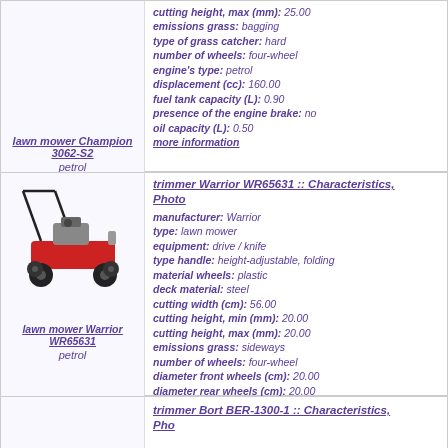[Figure (other): Lawn mower Champion 3062-S2 product image (not visible in crop)]
lawn mower Champion 3062-S2
petrol
cutting height, max (mm): 25.00
emissions grass: bagging
type of grass catcher: hard
number of wheels: four-wheel
engine's type: petrol
displacement (cc): 160.00
fuel tank capacity (L): 0.90
presence of the engine brake: no
oil capacity (L): 0.50
more information
[Figure (photo): Lawn mower Warrior WR65631 - red petrol push lawn mower]
lawn mower Warrior WR65631
petrol
trimmer Warrior WR65631 :: Characteristics, Photo
manufacturer: Warrior
type: lawn mower
equipment: drive / knife
type handle: height-adjustable, folding
material wheels: plastic
deck material: steel
cutting width (cm): 56.00
cutting height, min (mm): 20.00
cutting height, max (mm): 20.00
emissions grass: sideways
number of wheels: four-wheel
diameter front wheels (cm): 20.00
diameter rear wheels (cm): 20.00
engine's type: petrol
presence of the engine brake: no
more information
trimmer Bort BER-1300-1 :: Characteristics, Photo